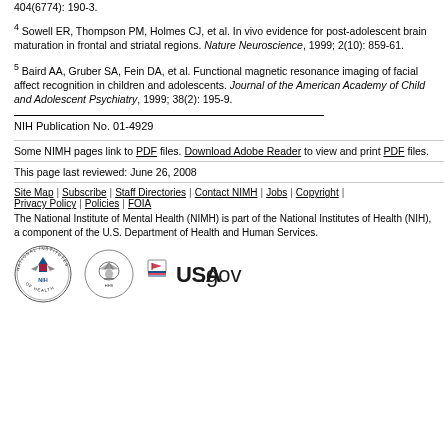404(6774): 190-3.
4 Sowell ER, Thompson PM, Holmes CJ, et al. In vivo evidence for post-adolescent brain maturation in frontal and striatal regions. Nature Neuroscience, 1999; 2(10): 859-61.
5 Baird AA, Gruber SA, Fein DA, et al. Functional magnetic resonance imaging of facial affect recognition in children and adolescents. Journal of the American Academy of Child and Adolescent Psychiatry, 1999; 38(2): 195-9.
NIH Publication No. 01-4929
Some NIMH pages link to PDF files. Download Adobe Reader to view and print PDF files.
This page last reviewed: June 26, 2008
Site Map | Subscribe | Staff Directories | Contact NIMH | Jobs | Copyright | Privacy Policy | Policies | FOIA
The National Institute of Mental Health (NIMH) is part of the National Institutes of Health (NIH), a component of the U.S. Department of Health and Human Services.
[Figure (logo): NIH National Institutes of Health logo (circular badge), HHS logo, and USA.gov logo]